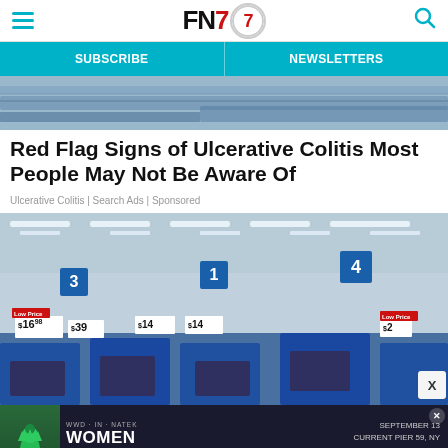FN7 — Navigation bar with SUBSCRIBE and NEWSLETTERS
[Figure (photo): Close-up of denim fabric, blue jeans texture]
Red Flag Signs of Ulcerative Colitis Most People May Not Be Aware Of
Ulcerative Colitis | Search Ads | Sponsored
[Figure (photo): Interior of a Walmart store showing checkout lanes numbered 1-4 with blue equipment, price tags showing $16, $39, $14, $2]
[Figure (photo): Advertisement banner: Women In Power event, September 13, Current Pier 59 NY, with chess queen piece and Register button]